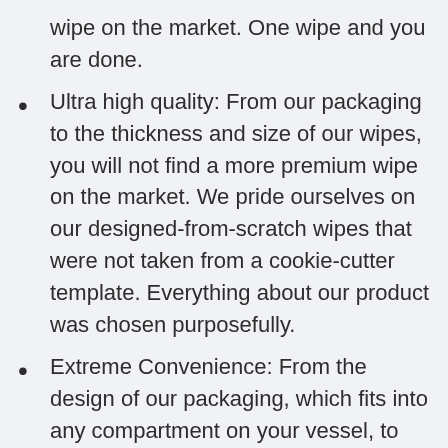wipe on the market. One wipe and you are done.
Ultra high quality: From our packaging to the thickness and size of our wipes, you will not find a more premium wipe on the market. We pride ourselves on our designed-from-scratch wipes that were not taken from a cookie-cutter template. Everything about our product was chosen purposefully.
Extreme Convenience: From the design of our packaging, which fits into any compartment on your vessel, to the massive size of the wipes, Boat Buddies are by far the easiest and most convenient option for cleaning your boat. Grab one wipe and quickly clean your vinyl, fiberglass, metals, hull, floors, and everything in between.